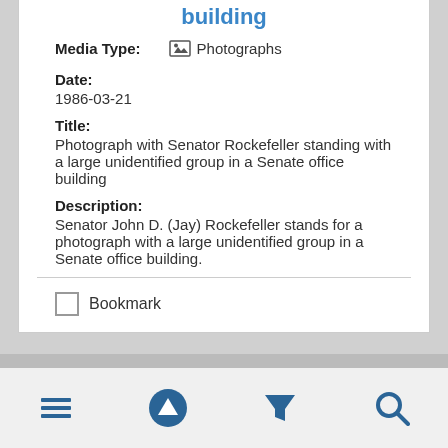building
Media Type: Photographs
Date:
1986-03-21
Title:
Photograph with Senator Rockefeller standing with a large unidentified group in a Senate office building
Description:
Senator John D. (Jay) Rockefeller stands for a photograph with a large unidentified group in a Senate office building.
Bookmark